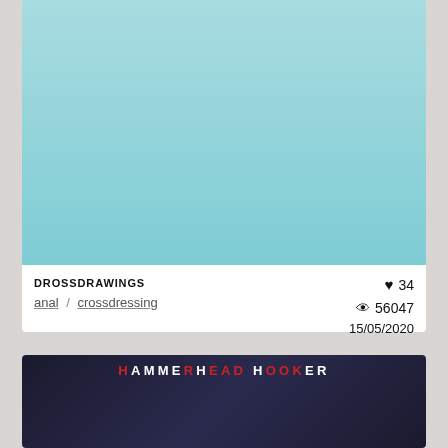[Figure (illustration): Anime-style illustration showing two characters in a sexual scene on a teal background; one character with white hair wearing a blue top and black gloves, the other in a red shirt]
DROSSDRAWINGS
anal / crossdressing
♥ 34
👁 56047
15/05/2020
[Figure (illustration): Dark-themed anime illustration with text 'HAMMERHEAD HOOKER' at top; shows a character with blonde hair wearing an orange cap and another element in dark background]